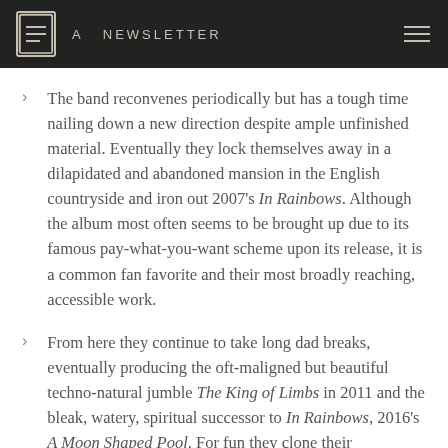A NEWSLETTER
The band reconvenes periodically but has a tough time nailing down a new direction despite ample unfinished material. Eventually they lock themselves away in a dilapidated and abandoned mansion in the English countryside and iron out 2007's In Rainbows. Although the album most often seems to be brought up due to its famous pay-what-you-want scheme upon its release, it is a common fan favorite and their most broadly reaching, accessible work.
From here they continue to take long dad breaks, eventually producing the oft-maligned but beautiful techno-natural jumble The King of Limbs in 2011 and the bleak, watery, spiritual successor to In Rainbows, 2016's A Moon Shaped Pool. For fun they clone their